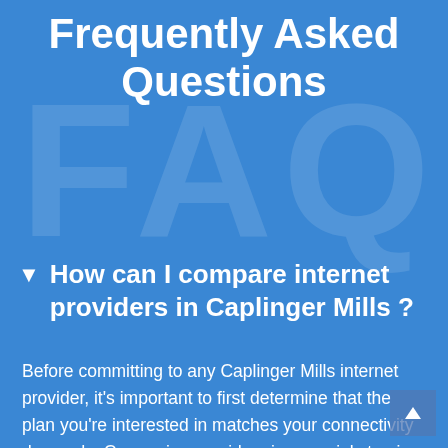Frequently Asked Questions
How can I compare internet providers in Caplinger Mills ?
Before committing to any Caplinger Mills internet provider, it's important to first determine that the plan you're interested in matches your connectivity demands. Comparing providers is a crucial step in your decision-making process and there are several important